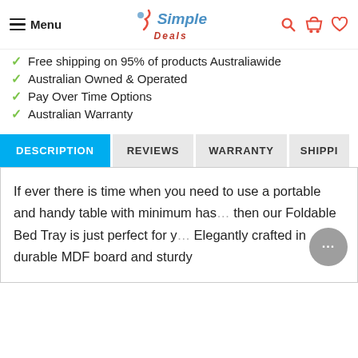Menu | Simple Deals
Free shipping on 95% of products Australiawide
Australian Owned & Operated
Pay Over Time Options
Australian Warranty
DESCRIPTION | REVIEWS | WARRANTY | SHIPPI...
If ever there is time when you need to use a portable and handy table with minimum has... then our Foldable Bed Tray is just perfect for y... Elegantly crafted in durable MDF board and sturdy